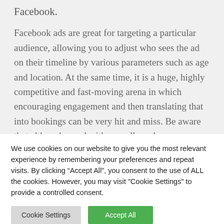Facebook.
Facebook ads are great for targeting a particular audience, allowing you to adjust who sees the ad on their timeline by various parameters such as age and location. At the same time, it is a huge, highly competitive and fast-moving arena in which encouraging engagement and then translating that into bookings can be very hit and miss. Be aware that although an ad with a small reach can seem
We use cookies on our website to give you the most relevant experience by remembering your preferences and repeat visits. By clicking “Accept All”, you consent to the use of ALL the cookies. However, you may visit "Cookie Settings" to provide a controlled consent.
Cookie Settings
Accept All